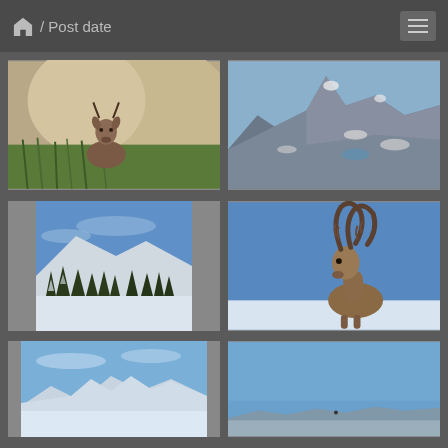/ Post date
[Figure (photo): A young chamois or mountain goat peeking from behind a large rock, surrounded by green grass]
[Figure (photo): Rocky mountain peaks with patches of snow on a clear day, high altitude alpine landscape]
[Figure (photo): Snow-covered mountain landscape with coniferous trees under a blue sky]
[Figure (photo): An alpine ibex (mountain goat) with large curved horns standing against a blue sky with snow on ground]
[Figure (photo): Panoramic snowy mountain vista with blue sky, wide angle landscape view]
[Figure (photo): Wide blue sky with distant mountain silhouette at horizon, minimal landscape]